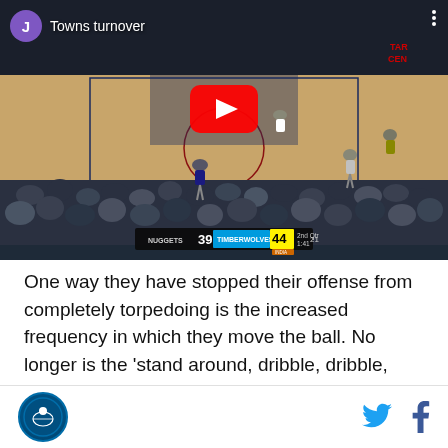[Figure (screenshot): YouTube video screenshot of an NBA basketball game showing Timberwolves vs Nuggets. Scoreboard reads NUGGETS 39, TIMBERWOLVES 44, 2nd Qtr 1:41, 21. Video title overlay says 'Towns turnover'. Large YouTube play button in center.]
One way they have stopped their offense from completely torpedoing is the increased frequency in which they move the ball. No longer is the 'stand around, dribble, dribble, dribble, shoot' of the Thibodeau reign of terror a nightly occurrence. Instead, there is a persistent eye for moving the ball and
Timberwolves logo | Twitter icon | Facebook icon